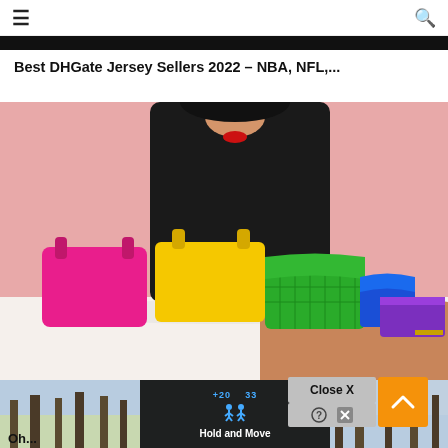≡  🔍
Best DHGate Jersey Sellers 2022 – NBA, NFL,...
[Figure (photo): Woman in black turtleneck dress reclining behind a row of colorful handbags (pink, yellow, green, blue, purple) on a white surface against a pink background]
[Figure (screenshot): Bottom portion of page showing: partial outdoor scene on the left, a dark ad overlay in the center with blue score counter (+20, 33) and 'Hold and Move' text, a 'Close X' button and help/close icons, and an orange scroll-to-top arrow button]
Oh...